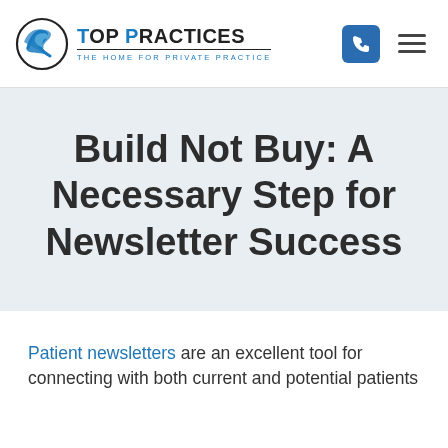[Figure (logo): Top Practices logo with circular arrow icon and text 'TOP PRACTICES – The Home for Private Practice']
Build Not Buy: A Necessary Step for Newsletter Success
Patient newsletters are an excellent tool for connecting with both current and potential patients